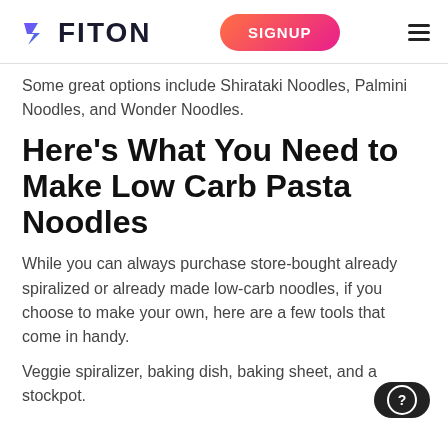FITON — SIGNUP
Some great options include Shirataki Noodles, Palmini Noodles, and Wonder Noodles.
Here's What You Need to Make Low Carb Pasta Noodles
While you can always purchase store-bought already spiralized or already made low-carb noodles, if you choose to make your own, here are a few tools that come in handy.
Veggie spiralizer, baking dish, baking sheet, and a stockpot.